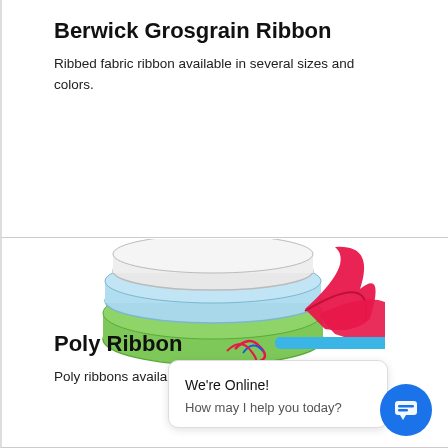Berwick Grosgrain Ribbon
Ribbed fabric ribbon available in several sizes and colors.
[Figure (photo): Stacked rolls of ribbon in pink/red, light blue, and green colors, with a blue pencil and curled red ribbon strands in front.]
Poly Ribbon
Poly ribbons available on large wholesale rolls.
We're Online!
How may I help you today?